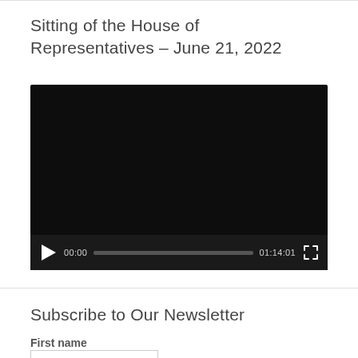Sitting of the House of Representatives – June 21, 2022
[Figure (screenshot): Embedded video player with black screen, play button, progress bar showing 00:00 start time and 01:14:01 total duration, and fullscreen button]
Subscribe to Our Newsletter
First name